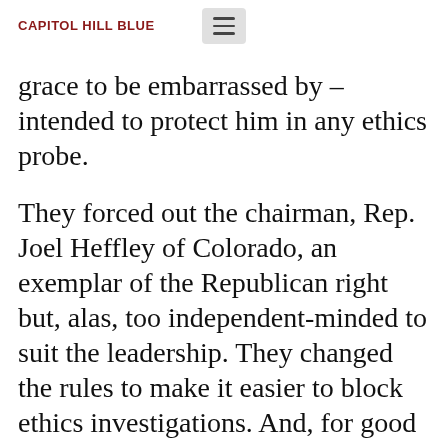CAPITOL HILL BLUE
grace to be embarrassed by – intended to protect him in any ethics probe.
They forced out the chairman, Rep. Joel Heffley of Colorado, an exemplar of the Republican right but, alas, too independent-minded to suit the leadership. They changed the rules to make it easier to block ethics investigations. And, for good measure, they installed two close DeLay allies on the panel, Reps. Lamar Smith of Texas